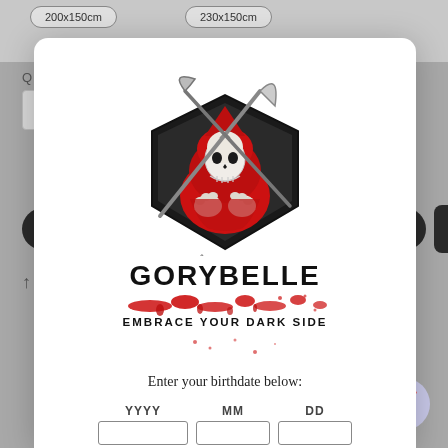[Figure (screenshot): E-commerce product page background showing size buttons (200x150cm, 230x150cm), quantity selector, add to cart button, and share icon on gray background]
[Figure (logo): Gorybelle brand logo: a skull in a red hooded cloak holding crossed scythes, inside a shield shape. Brand name GORYBELLE in bold black letters with blood splatter graphic. Tagline: EMBRACE YOUR DARK SIDE]
Enter your birthdate below:
YYYY   MM   DD